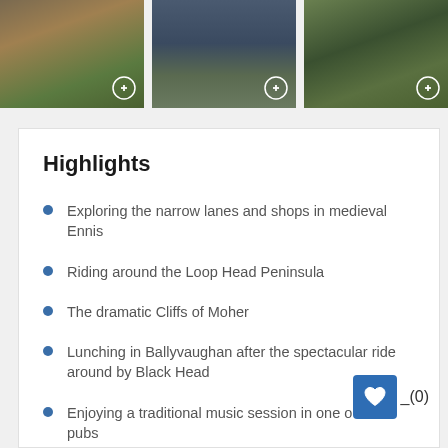[Figure (photo): Three thumbnail photos at top: ancient stone ruins at sunset, cyclists on a road, and a green hillside]
Highlights
Exploring the narrow lanes and shops in medieval Ennis
Riding around the Loop Head Peninsula
The dramatic Cliffs of Moher
Lunching in Ballyvaughan after the spectacular ride around by Black Head
Enjoying a traditional music session in one of pubs
Browsing in the Burren Visitor Centre